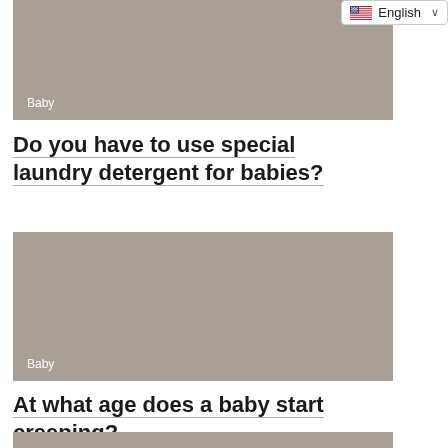[Figure (photo): Gray placeholder image with 'Baby' label in bottom-left corner]
Do you have to use special laundry detergent for babies?
[Figure (photo): Gray placeholder image with 'Baby' label in bottom-left corner]
At what age does a baby start creeping?
[Figure (photo): Gray placeholder image, partially visible at bottom of page]